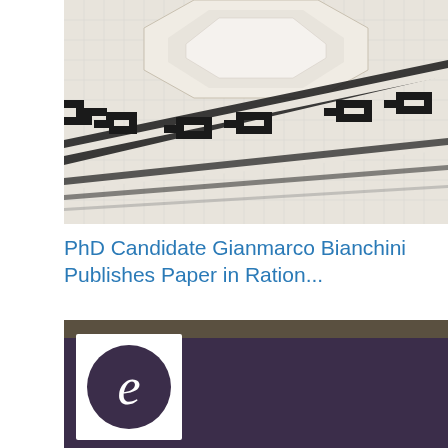[Figure (photo): Close-up photograph of decorative mosaic tile floor with Greek key border pattern in black and white around an octagonal raised platform/pedestal]
PhD Candidate Gianmarco Bianchini Publishes Paper in Ration...
[Figure (logo): Dark purple/navy background with a white square containing the letter 'e' in dark purple circle — appears to be a logo or app icon]